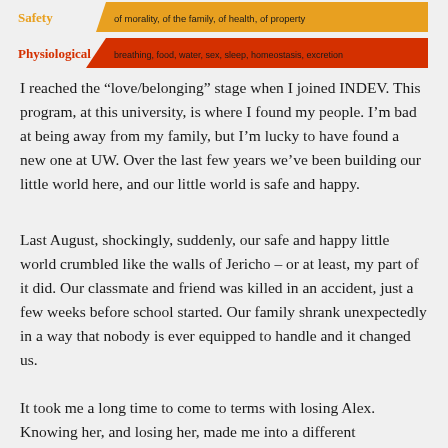[Figure (infographic): Maslow's hierarchy of needs pyramid (partial, bottom two rows visible): Safety row labeled in orange with 'of morality, of the family, of health, of property'; Physiological row labeled in red with 'breathing, food, water, sex, sleep, homeostasis, excretion']
I reached the “love/belonging” stage when I joined INDEV. This program, at this university, is where I found my people. I’m bad at being away from my family, but I’m lucky to have found a new one at UW. Over the last few years we’ve been building our little world here, and our little world is safe and happy.
Last August, shockingly, suddenly, our safe and happy little world crumbled like the walls of Jericho – or at least, my part of it did. Our classmate and friend was killed in an accident, just a few weeks before school started. Our family shrank unexpectedly in a way that nobody is ever equipped to handle and it changed us.
It took me a long time to come to terms with losing Alex. Knowing her, and losing her, made me into a different